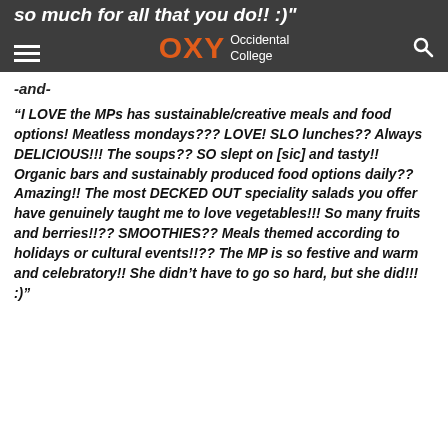so much for all that you do!! :)" OXY Occidental College
-and-
“I LOVE the MPs has sustainable/creative meals and food options! Meatless mondays??? LOVE! SLO lunches?? Always DELICIOUS!!! The soups?? SO slept on [sic] and tasty!! Organic bars and sustainably produced food options daily?? Amazing!! The most DECKED OUT speciality salads you offer have genuinely taught me to love vegetables!!! So many fruits and berries!!?? SMOOTHIES?? Meals themed according to holidays or cultural events!!?? The MP is so festive and warm and celebratory!! She didn’t have to go so hard, but she did!!! :)"